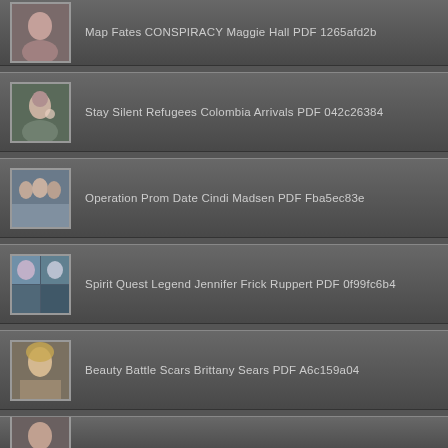Map Fates CONSPIRACY Maggie Hall PDF 1265afd2b
Stay Silent Refugees Colombia Arrivals PDF 042c26384
Operation Prom Date Cindi Madsen PDF Fba5ec83e
Spirit Quest Legend Jennifer Frick Ruppert PDF 0f99fc6b4
Beauty Battle Scars Brittany Sears PDF A6c159a04
(partial item at bottom)